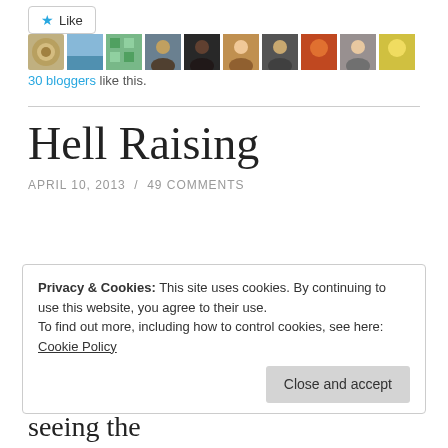[Figure (screenshot): Like button with star icon and avatars of 30 bloggers]
30 bloggers like this.
Hell Raising
APRIL 10, 2013  /  49 COMMENTS
Privacy & Cookies: This site uses cookies. By continuing to use this website, you agree to their use.
To find out more, including how to control cookies, see here: Cookie Policy
together again this week. On seeing the